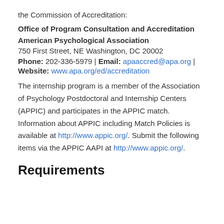the Commission of Accreditation:
Office of Program Consultation and Accreditation
American Psychological Association
750 First Street, NE Washington, DC 20002
Phone: 202-336-5979 | Email: apaaccred@apa.org |
Website: www.apa.org/ed/accreditation
The internship program is a member of the Association of Psychology Postdoctoral and Internship Centers (APPIC) and participates in the APPIC match. Information about APPIC including Match Policies is available at http://www.appic.org/. Submit the following items via the APPIC AAPI at http://www.appic.org/.
Requirements